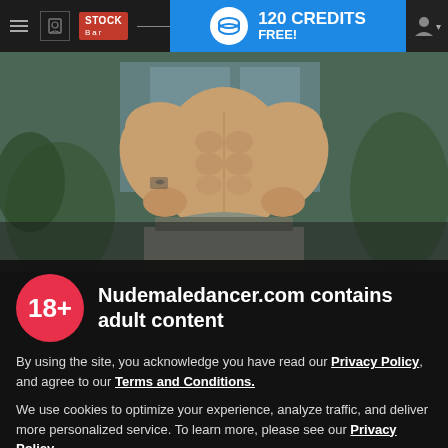[Figure (screenshot): Website navigation bar with hamburger menu, Stock Bar logo, 120 Credits FREE banner in blue, and user icon]
[Figure (photo): Muscular shirtless man sitting with hands on hips, indoor setting with plants in background]
Nudemaledancer.com contains adult content
By using the site, you acknowledge you have read our Privacy Policy, and agree to our Terms and Conditions.
We use cookies to optimize your experience, analyze traffic, and deliver more personalized service. To learn more, please see our Privacy Policy.
I AGREE